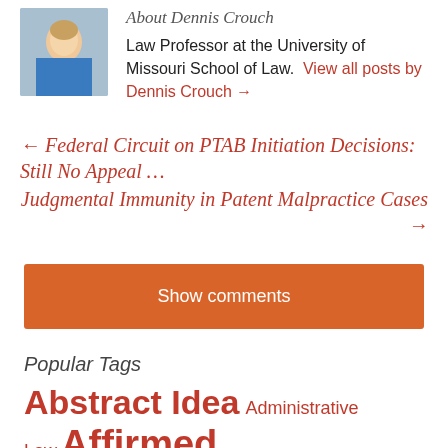About Dennis Crouch
[Figure (photo): Headshot photo of Dennis Crouch]
Law Professor at the University of Missouri School of Law. View all posts by Dennis Crouch →
← Federal Circuit on PTAB Initiation Decisions: Still No Appeal …
Judgmental Immunity in Patent Malpractice Cases →
Show comments
Popular Tags
Abstract Idea  Administrative Law  Affirmed